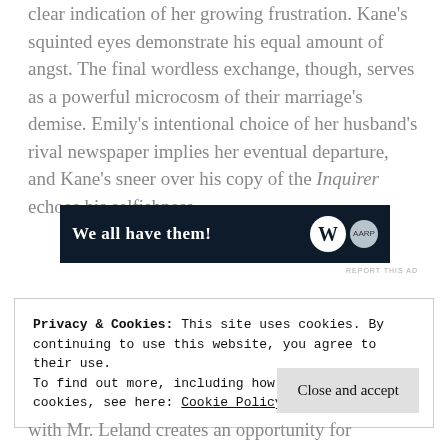clear indication of her growing frustration. Kane's squinted eyes demonstrate his equal amount of angst. The final wordless exchange, though, serves as a powerful microcosm of their marriage's demise. Emily's intentional choice of her husband's rival newspaper implies her eventual departure, and Kane's sneer over his copy of the Inquirer echoes his selfishness.
[Figure (other): Dark navy advertisement banner reading 'We all have them!' with a W logo circle and a small circular badge logo on the right]
REPORT THIS AD
Privacy & Cookies: This site uses cookies. By continuing to use this website, you agree to their use.
To find out more, including how to control cookies, see here: Cookie Policy
with Mr. Leland creates an opportunity for